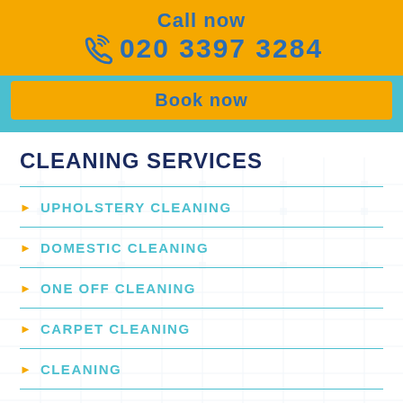Call now 020 3397 3284
Book now
CLEANING SERVICES
UPHOLSTERY CLEANING
DOMESTIC CLEANING
ONE OFF CLEANING
CARPET CLEANING
CLEANING
CLEANING SERVICES
CLEANERS